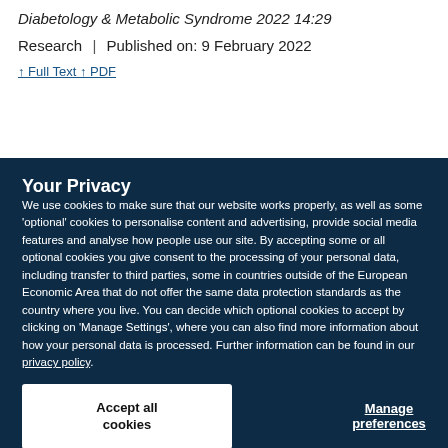Diabetology & Metabolic Syndrome 2022 14:29
Research | Published on: 9 February 2022
↑ Full Text ↑ PDF
Your Privacy
We use cookies to make sure that our website works properly, as well as some 'optional' cookies to personalise content and advertising, provide social media features and analyse how people use our site. By accepting some or all optional cookies you give consent to the processing of your personal data, including transfer to third parties, some in countries outside of the European Economic Area that do not offer the same data protection standards as the country where you live. You can decide which optional cookies to accept by clicking on 'Manage Settings', where you can also find more information about how your personal data is processed. Further information can be found in our privacy policy.
Accept all cookies
Manage preferences